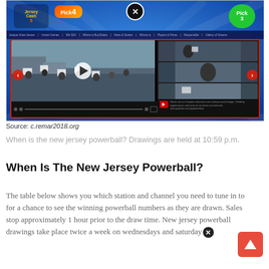[Figure (screenshot): Screenshot of the New Jersey Lottery website showing game logos (Jersey Cash, Pick 4, Pick 3), a navigation bar, and a video player with protesters holding signs. Red arrows on left and right for navigation.]
Source: c.remar2018.org
When is the new jersey powerball? Drawings are held at 10:59 p.m.
When Is The New Jersey Powerball?
The table below shows you which station and channel you need to tune in to for a chance to see the winning powerball numbers as they are drawn. Sales stop approximately 1 hour prior to the draw time. New jersey powerball drawings take place twice a week on wednesdays and saturday